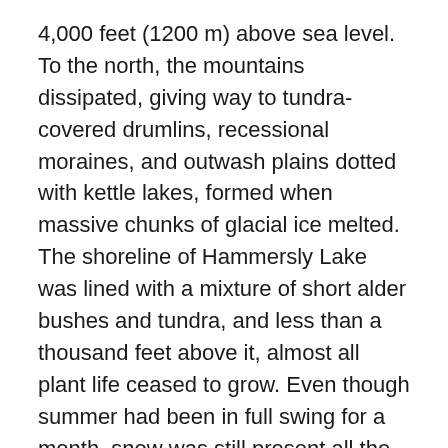4,000 feet (1200 m) above sea level. To the north, the mountains dissipated, giving way to tundra-covered drumlins, recessional moraines, and outwash plains dotted with kettle lakes, formed when massive chunks of glacial ice melted. The shoreline of Hammersly Lake was lined with a mixture of short alder bushes and tundra, and less than a thousand feet above it, almost all plant life ceased to grow. Even though summer had been in full swing for a month, snow was still present all the way down to the lake shore.
As we stood on the windswept shore, we started to realize the vastness of the wilderness we just entered. Grizzly tracks were present, but the lack of fresh scat told us there were probably not any recent visitors. The sockeye salmon had not made it upstream that far yet, and the bears knew this. Nevertheless, we anticipated encounters with